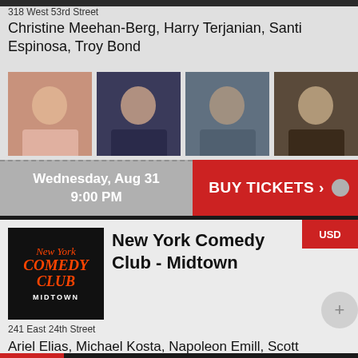318 West 53rd Street
Christine Meehan-Berg, Harry Terjanian, Santi Espinosa, Troy Bond
[Figure (photo): Four performer headshots in a row]
Wednesday, Aug 31
9:00 PM
BUY TICKETS >
[Figure (logo): New York Comedy Club Midtown logo]
New York Comedy Club - Midtown
241 East 24th Street
Ariel Elias, Michael Kosta, Napoleon Emill, Scott Chaplain, Tom Cassidy
[Figure (photo): Five performer headshots in a row]